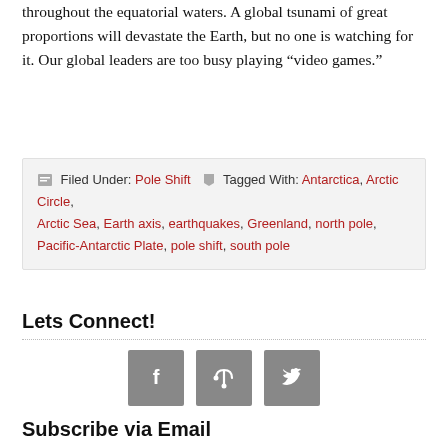throughout the equatorial waters. A global tsunami of great proportions will devastate the Earth, but no one is watching for it. Our global leaders are too busy playing “video games.”
Filed Under: Pole Shift  Tagged With: Antarctica, Arctic Circle, Arctic Sea, Earth axis, earthquakes, Greenland, north pole, Pacific-Antarctic Plate, pole shift, south pole
Lets Connect!
[Figure (infographic): Three social media icon buttons: Facebook (f), RSS feed, and Twitter bird icon, rendered as grey square buttons]
Subscribe via Email